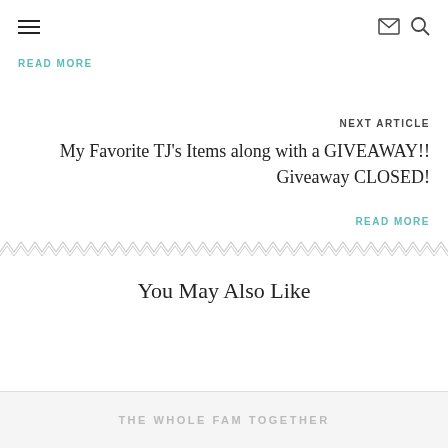≡  ✉ 🔍
READ MORE
NEXT ARTICLE
My Favorite TJ's Items along with a GIVEAWAY!! Giveaway CLOSED!
READ MORE
[Figure (other): Decorative zigzag/chevron pattern divider line]
You May Also Like
THE WHOLE FAM TOGETHER